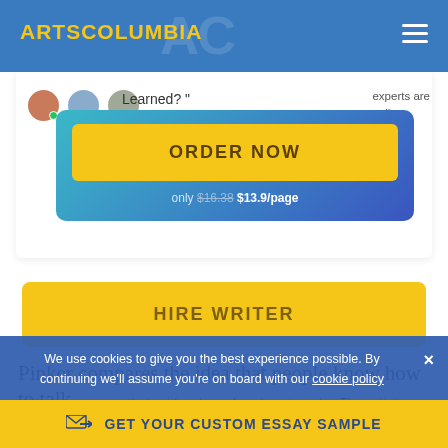ARTSCOLUMBIA
Learned? "
experts are online
ORDER NOW
only $16.38 $13.9/page
HIRE WRITER
Pinker compares the idea that people know how to talk
in the same sense that spiders know how to spin webs. The activity or practice of spinning webs was not invented by any one spider, but rather is an instinctive quality that spiders have much like humans and
We use cookies to give you the best experience possible. By continuing we'll assume you're on board with our cookie policy
GET YOUR CUSTOM ESSAY SAMPLE